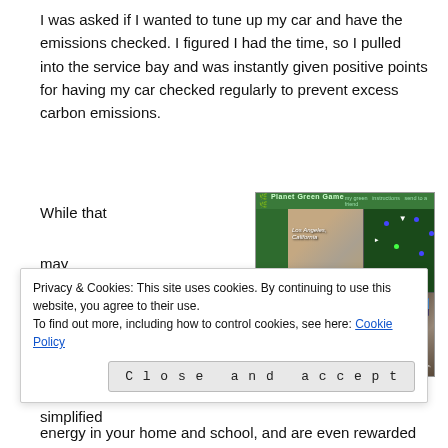I was asked if I wanted to tune up my car and have the emissions checked. I figured I had the time, so I pulled into the service bay and was instantly given positive points for having my car checked regularly to prevent excess carbon emissions.
While that may sound like a simplified example
[Figure (screenshot): Screenshot of Planet Green Game website showing Los Angeles, California with building photos, site map, text panel, mini-map and satellite view]
Privacy & Cookies: This site uses cookies. By continuing to use this website, you agree to their use.
To find out more, including how to control cookies, see here: Cookie Policy
Close and accept
energy in your home and school, and are even rewarded